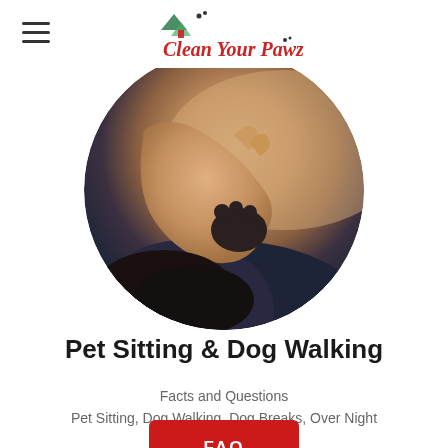Clean Your Pawz
[Figure (photo): Circular cropped photo of a person's hands grooming or holding a dog's paw, warm brown and blue tones]
Pet Sitting & Dog Walking
Facts and Questions
Pet Sitting, Dog Walking, Dog Breaks, Over Night Sitting, Cat Sitting
FAQ